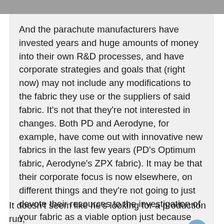And the parachute manufacturers have invested years and huge amounts of money into their own R&D processes, and have corporate strategies and goals that (right now) may not include any modifications to the fabric they use or the suppliers of said fabric. It's not that they're not interested in changes. Both PD and Aerodyne, for example, have come out with innovative new fabrics in the last few years (PD's Optimum fabric, Aerodyne's ZPX fabric). It may be that their corporate focus is now elsewhere, on different things and they're not going to just devote their resources to the investigation of your fabric as a viable option just because you think they should.
It doesn't seem like he's looking for a production run,